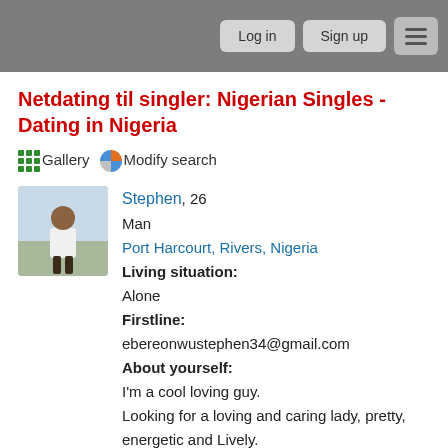Log in  Sign up  [menu]
Netdating til singler: Nigerian Singles - Dating in Nigeria
Gallery  Modify search
[Figure (photo): Profile photo of Stephen, a young man standing outdoors wearing a white shirt]
Stephen, 26
Man
Port Harcourt, Rivers, Nigeria
Living situation:
Alone
Firstline:
ebereonwustephen34@gmail.com
About yourself:
I'm a cool loving guy.
Looking for a loving and caring lady, pretty, energetic and Lively.